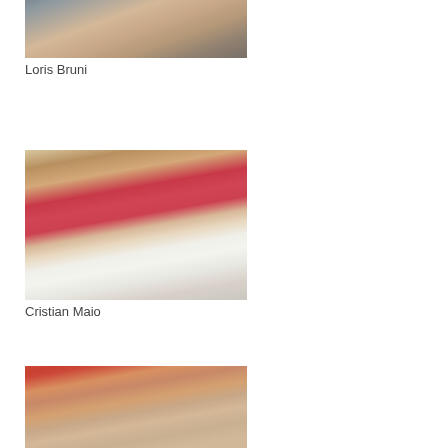[Figure (photo): Shirtless male model (Loris Bruni) photographed against a dark background, partially cropped at top of page]
Loris Bruni
[Figure (photo): Male model (Cristian Maio) reclining on a red ornate sofa/couch, wearing white pants, shirtless, with a framed painting on wall behind]
Cristian Maio
[Figure (photo): Male model reclining on a plaid couch with red/orange wall behind, dark hair, partially cropped at bottom of page]